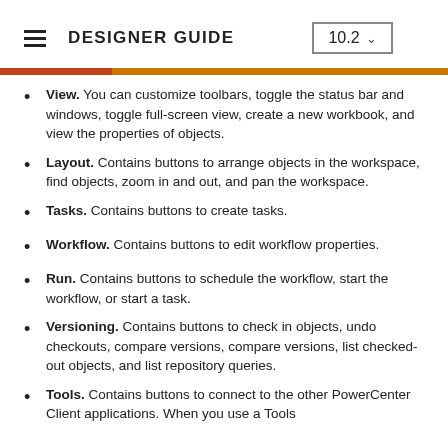DESIGNER GUIDE 10.2
View. You can customize toolbars, toggle the status bar and windows, toggle full-screen view, create a new workbook, and view the properties of objects.
Layout. Contains buttons to arrange objects in the workspace, find objects, zoom in and out, and pan the workspace.
Tasks. Contains buttons to create tasks.
Workflow. Contains buttons to edit workflow properties.
Run. Contains buttons to schedule the workflow, start the workflow, or start a task.
Versioning. Contains buttons to check in objects, undo checkouts, compare versions, compare versions, list checked-out objects, and list repository queries.
Tools. Contains buttons to connect to the other PowerCenter Client applications. When you use a Tools